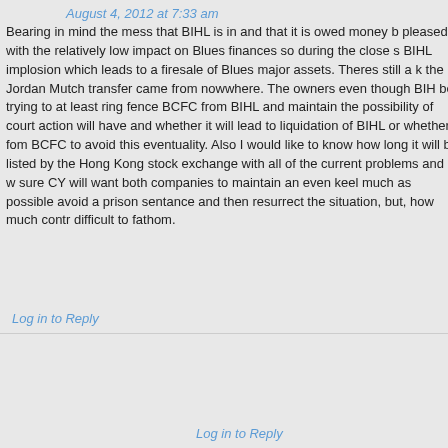August 4, 2012 at 7:33 am
Bearing in mind the mess that BIHL is in and that it is owed money b… pleased with the relatively low impact on Blues finances so during the close s… BIHL implosion which leads to a firesale of Blues major assets. Theres still a k… the Jordan Mutch transfer came from nowwhere. The owners even though BIH… be trying to at least ring fence BCFC from BIHL and maintain the possibility of… court action will have and whether it will lead to liquidation of BIHL or whether… fom BCFC to avoid this eventuality. Also I would like to know how long it will b… listed by the Hong Kong stock exchange with all of the current problems and w… sure CY will want both companies to maintain an even keel much as possible… avoid a prison sentance and then resurrect the situation, but, how much contr… difficult to fathom.
Log in to Reply
KeeprightCroydON says:
August 4, 2012 at 10:51 am
I think BCFC is ok – for the timebeing at least. We do owe CY, BIH… should have quite a substantial part of that in the bank because of all the pla… for a substantial working profit in 2011/12 season as indicated by PP a few w… The following is only a hypothesis, as I do not have facts and am no expert… My guess is that at some point all our Chinese creditors will call in their loan… order it to pay off fines if CY is found guilty). At this point the umbilical cord t… still be a going concern with very low debts, and will be ripe for a takeover. T… will be the knight in shining armour?
Log in to Reply